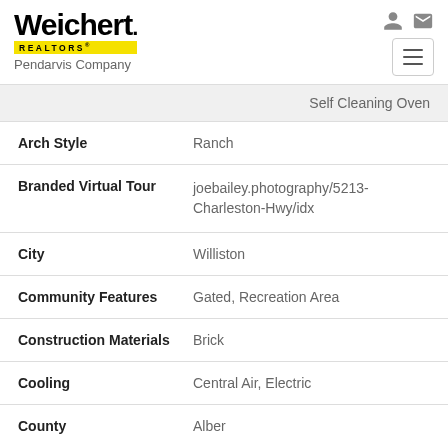[Figure (logo): Weichert Realtors Pendarvis Company logo]
Self Cleaning Oven
| Field | Value |
| --- | --- |
| Arch Style | Ranch |
| Branded Virtual Tour | joebailey.photography/5213-Charleston-Hwy/idx |
| City | Williston |
| Community Features | Gated, Recreation Area |
| Construction Materials | Brick |
| Cooling | Central Air, Electric |